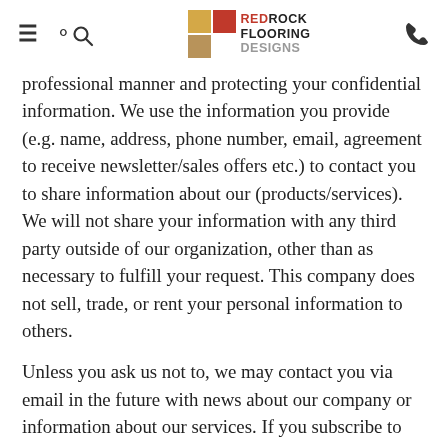Red Rock Flooring Designs
professional manner and protecting your confidential information. We use the information you provide (e.g. name, address, phone number, email, agreement to receive newsletter/sales offers etc.) to contact you to share information about our (products/services). We will not share your information with any third party outside of our organization, other than as necessary to fulfill your request. This company does not sell, trade, or rent your personal information to others.
Unless you ask us not to, we may contact you via email in the future with news about our company or information about our services. If you subscribe to our newsletter, you may unsubscribe at any time, either by using the unsubscribe link on the newsletter or by